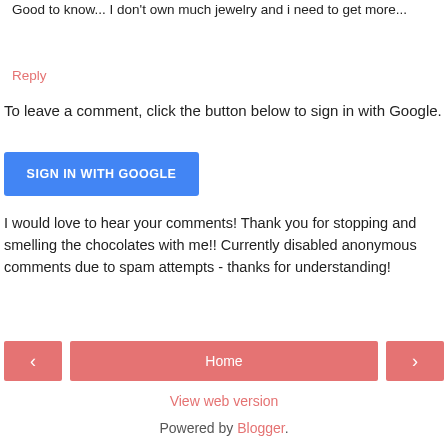Good to know... I don't own much jewelry and i need to get more...
Reply
To leave a comment, click the button below to sign in with Google.
[Figure (other): Blue button labeled SIGN IN WITH GOOGLE]
I would love to hear your comments! Thank you for stopping and smelling the chocolates with me!! Currently disabled anonymous comments due to spam attempts - thanks for understanding!
[Figure (other): Navigation bar with left arrow button, Home button, and right arrow button]
View web version
Powered by Blogger.